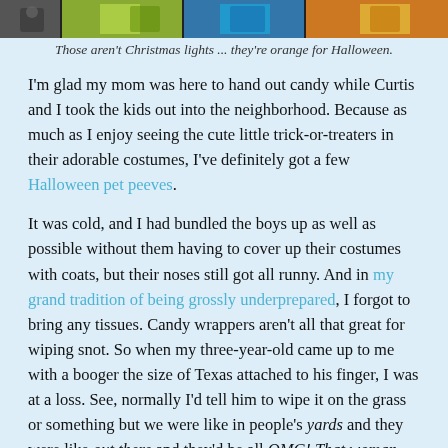[Figure (photo): Strip of Halloween photos showing children in costumes, with orange lights visible]
Those aren't Christmas lights ... they're orange for Halloween.
I'm glad my mom was here to hand out candy while Curtis and I took the kids out into the neighborhood. Because as much as I enjoy seeing the cute little trick-or-treaters in their adorable costumes, I've definitely got a few Halloween pet peeves.
It was cold, and I had bundled the boys up as well as possible without them having to cover up their costumes with coats, but their noses still got all runny. And in my grand tradition of being grossly underprepared, I forgot to bring any tissues. Candy wrappers aren't all that great for wiping snot. So when my three-year-old came up to me with a booger the size of Texas attached to his finger, I was at a loss. See, normally I'd tell him to wipe it on the grass or something but we were like in people's yards and they were like out there and they'd be all OMG! That woman